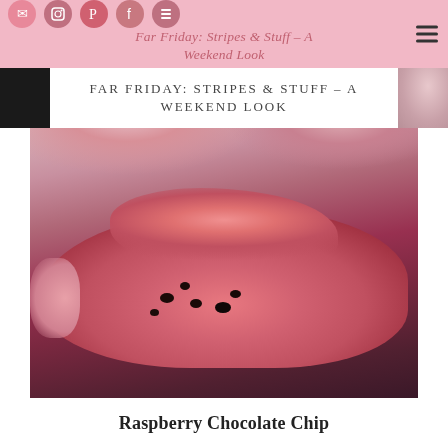Far Friday: Stripes & Stuff – A Weekend Look
[Figure (photo): Close-up photo of a pink raspberry chocolate chip meringue cookie broken open to reveal chocolate chips inside, with more pink meringues blurred in the background on a grey surface]
Raspberry Chocolate Chip